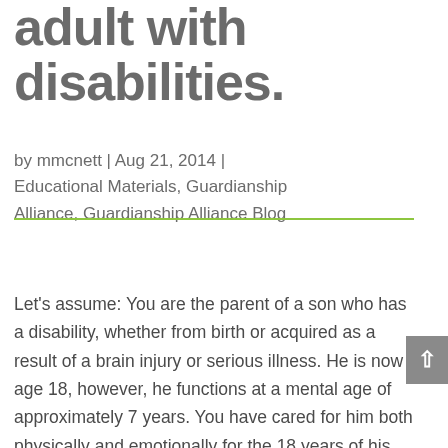adult with disabilities.
by mmcnett | Aug 21, 2014 | Educational Materials, Guardianship Alliance, Guardianship Alliance Blog
Let’s assume: You are the parent of a son who has a disability, whether from birth or acquired as a result of a brain injury or serious illness. He is now age 18, however, he functions at a mental age of approximately 7 years. You have cared for him both physically and emotionally for the 18 years of his life. As his parent you have always